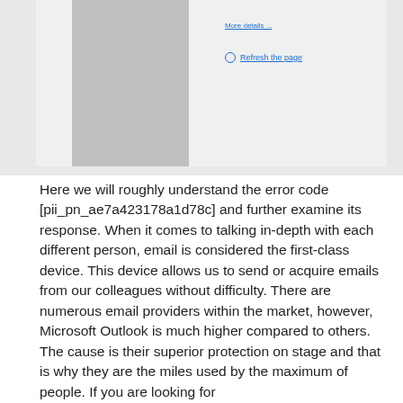[Figure (screenshot): Screenshot of a browser or application error page showing 'More details...' link and 'Refresh the page' button, with a thumbnail/icon on the left side, displayed on a grey background.]
Here we will roughly understand the error code [pii_pn_ae7a423178a1d78c] and further examine its response. When it comes to talking in-depth with each different person, email is considered the first-class device. This device allows us to send or acquire emails from our colleagues without difficulty. There are numerous email providers within the market, however, Microsoft Outlook is much higher compared to others. The cause is their superior protection on stage and that is why they are the miles used by the maximum of people. If you are looking for [pii_pn_ae7a423178a1d78c] error solution then you are at best place. Here we will provide multiple solutions to fixing the error code [pii_pn_ae7a423178a1d78c]